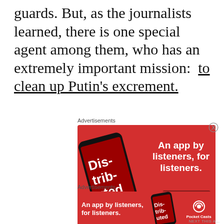guards. But, as the journalists learned, there is one special agent among them, who has an extremely important mission:  to clean up Putin's excrement.
[Figure (other): Advertisement banner for Pocket Casts app showing a smartphone with 'Dis-trib-uted' podcast artwork on a red background with text 'An app by listeners, for listeners.' and a 'Download now' button]
[Figure (other): Second advertisement banner for Pocket Casts app, smaller horizontal version, red background with white bold text 'An app by listeners, for listeners.' alongside smartphone image and Pocket Casts logo]